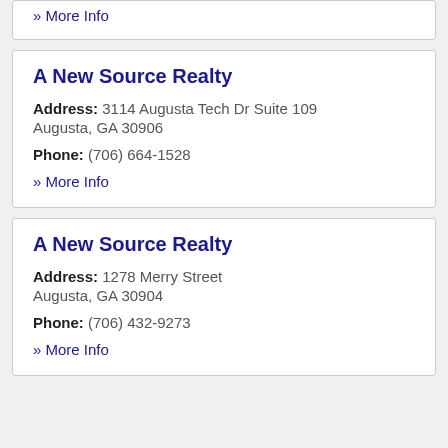» More Info
A New Source Realty
Address: 3114 Augusta Tech Dr Suite 109 Augusta, GA 30906
Phone: (706) 664-1528
» More Info
A New Source Realty
Address: 1278 Merry Street Augusta, GA 30904
Phone: (706) 432-9273
» More Info